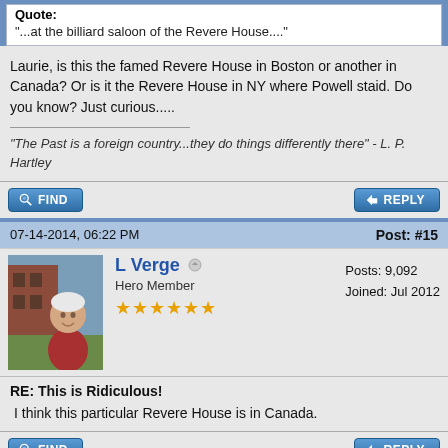Quote:
"...at the billiard saloon of the Revere House...."
Laurie, is this the famed Revere House in Boston or another in Canada? Or is it the Revere House in NY where Powell staid. Do you know? Just curious.....
"The Past is a foreign country...they do things differently there" - L. P. Hartley
07-14-2014, 06:22 PM
Post: #15
[Figure (photo): Profile photo of L Verge, a woman with short white hair wearing a red patterned jacket, standing outdoors]
L Verge
Hero Member
Posts: 9,092
Joined: Jul 2012
RE: This is Ridiculous!
I think this particular Revere House is in Canada.
« Next Oldest |
Enter Keywords
Search Thread